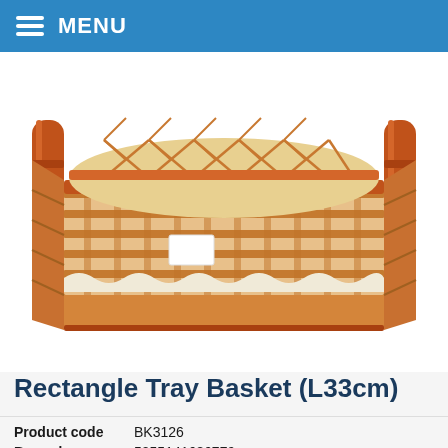MENU
[Figure (photo): A wicker rectangle tray basket with orange/brown bamboo handles on both sides. The basket is woven with a cream and orange pattern, photographed from a slightly elevated front angle on a white background.]
Rectangle Tray Basket (L33cm)
| Product code | BK3126 |
| Barcode | 5055141686779 |